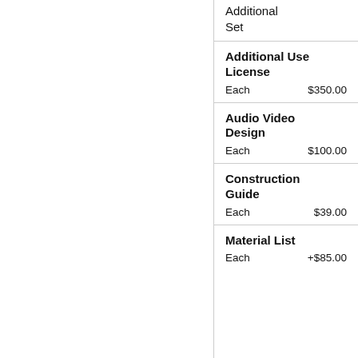Additional Set
Additional Use License
Each $350.00
Audio Video Design
Each $100.00
Construction Guide
Each $39.00
Material List
Each +$85.00